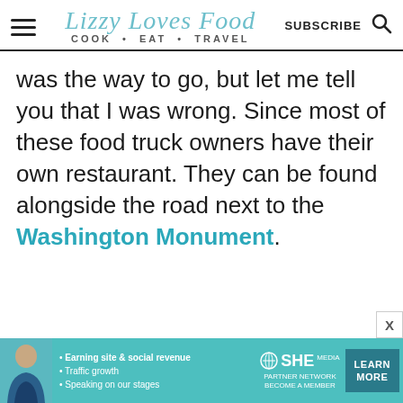Lizzy Loves Food — COOK • EAT • TRAVEL
was the way to go, but let me tell you that I was wrong. Since most of these food truck owners have their own restaurant. They can be found alongside the road next to the Washington Monument.
[Figure (other): SHE Partner Network advertisement banner with woman photo, bullet points about earning site & social revenue, traffic growth, speaking on stages, and a Learn More button]